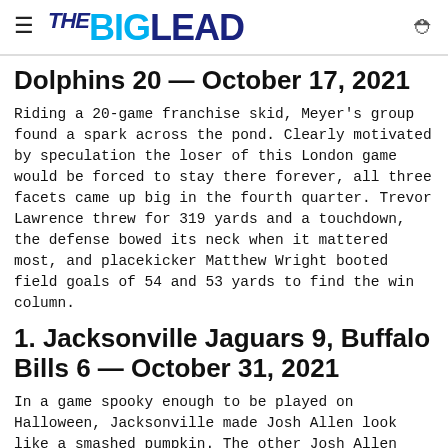THE BIG LEAD
Dolphins 20 — October 17, 2021
Riding a 20-game franchise skid, Meyer's group found a spark across the pond. Clearly motivated by speculation the loser of this London game would be forced to stay there forever, all three facets came up big in the fourth quarter. Trevor Lawrence threw for 319 yards and a touchdown, the defense bowed its neck when it mattered most, and placekicker Matthew Wright booted field goals of 54 and 53 yards to find the win column.
1. Jacksonville Jaguars 9, Buffalo Bills 6 — October 31, 2021
In a game spooky enough to be played on Halloween, Jacksonville made Josh Allen look like a smashed pumpkin. The other Josh Allen notched an interception, a fumble recovery and a sack. People freaked out because